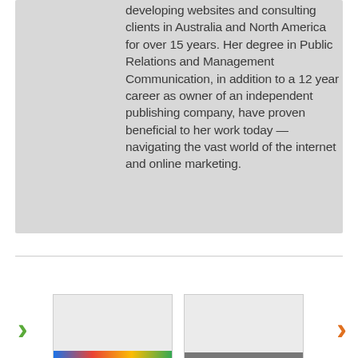developing websites and consulting clients in Australia and North America for over 15 years. Her degree in Public Relations and Management Communication, in addition to a 12 year career as owner of an independent publishing company, have proven beneficial to her work today — navigating the vast world of the internet and online marketing.